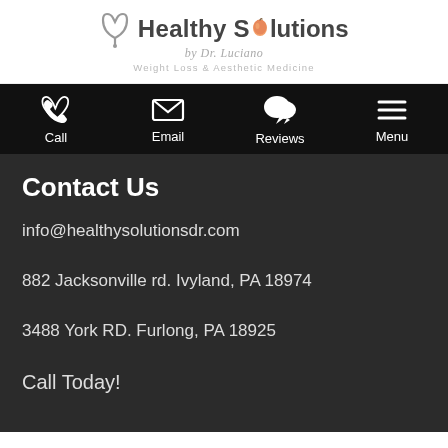[Figure (logo): Healthy Solutions by Dr. Luciano logo with stethoscope and peach icon, Weight Loss & Aesthetic Medicine tagline]
Call | Email | Reviews | Menu
Contact Us
info@healthysolutionsdr.com
882 Jacksonville rd. Ivyland, PA 18974
3488 York RD. Furlong, PA 18925
Call Today!